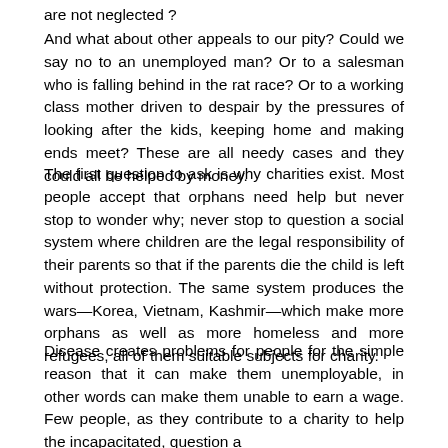are not neglected ?
And what about other appeals to our pity? Could we say no to an unemployed man? Or to a salesman who is falling behind in the rat race? Or to a working class mother driven to despair by the pressures of looking after the kids, keeping home and making ends meet? These are all needy cases and they could all be helped by money.
The first question to ask is why charities exist. Most people accept that orphans need help but never stop to wonder why; never stop to question a social system where children are the legal responsibility of their parents so that if the parents die the child is left without protection. The same system produces the wars—Korea, Vietnam, Kashmir—which make more orphans as well as more homeless and more refugees, all of them suitable subjects for charity.
Disease creates problems for people for the simple reason that it can make them unemployable, in other words can make them unable to earn a wage. Few people, as they contribute to a charity to help the incapacitated, question a